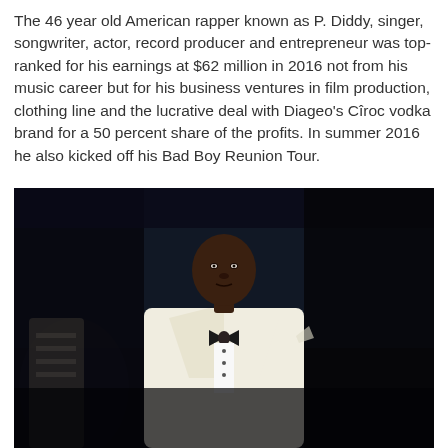The 46 year old American rapper known as P. Diddy, singer, songwriter, actor, record producer and entrepreneur was top-ranked for his earnings at $62 million in 2016 not from his music career but for his business ventures in film production, clothing line and the lucrative deal with Diageo's Cîroc vodka brand for a 50 percent share of the profits. In summer 2016 he also kicked off his Bad Boy Reunion Tour.
[Figure (photo): A man wearing a white tuxedo jacket with black bow tie, standing against a dark background. Portrait-style photograph.]